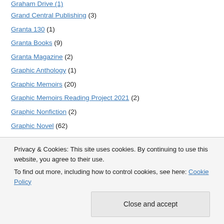Grand Central Publishing (3)
Granta 130 (1)
Granta Books (9)
Granta Magazine (2)
Graphic Anthology (1)
Graphic Memoirs (20)
Graphic Memoirs Reading Project 2021 (2)
Graphic Nonfiction (2)
Graphic Novel (62)
Graphic Novels (31)
Graphic Novels Reading Project (20)
Graphic Universe (2)
Privacy & Cookies: This site uses cookies. By continuing to use this website, you agree to their use.
To find out more, including how to control cookies, see here: Cookie Policy